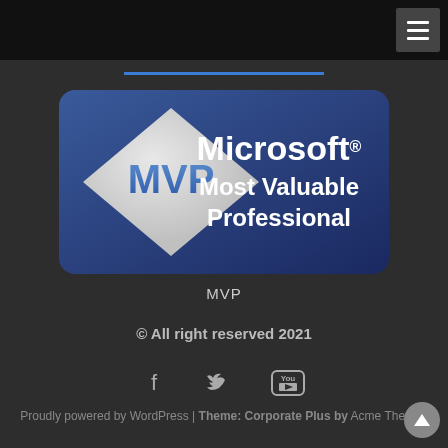[Figure (logo): Microsoft MVP Most Valuable Professional badge - dark blue rounded rectangle with white diamond containing blue MVP text and white Microsoft Most Valuable Professional text]
MVP
© All right reserved 2021
[Figure (infographic): Social media icons: Facebook (f), Twitter (bird), YouTube]
Proudly powered by WordPress | Theme: Corporate Plus by Acme Themes